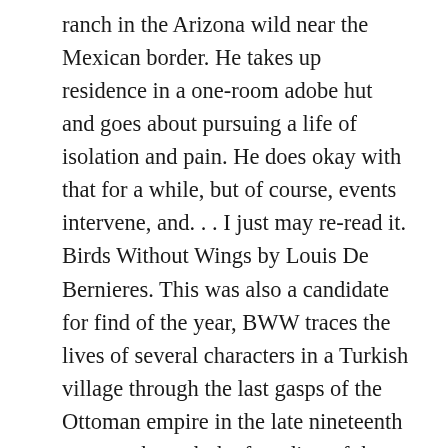ranch in the Arizona wild near the Mexican border. He takes up residence in a one-room adobe hut and goes about pursuing a life of isolation and pain. He does okay with that for a while, but of course, events intervene, and. . . I just may re-read it. Birds Without Wings by Louis De Bernieres. This was also a candidate for find of the year, BWW traces the lives of several characters in a Turkish village through the last gasps of the Ottoman empire in the late nineteenth century through the founding of the Turkish nation in 1923. It's a unique history and an important one. But of course important history doesn't make a novel. Characters and fine writing do that, and De Bernieres has created just that in this absorbing and compelling story. Susanne said when she finished it, she wanted to start over. I can't put it better, so we'll leave it there. Skin of a Lion by Michael Ondaatje. In the other two Michael Ondaatje novels I've read  this superlative